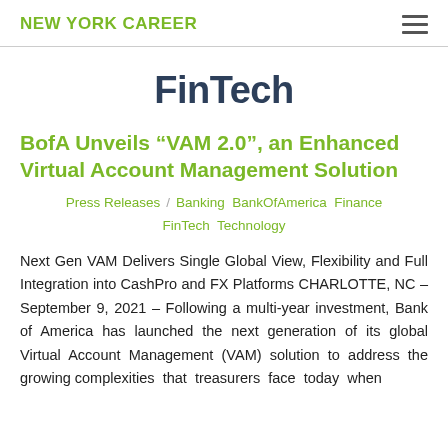NEW YORK CAREER
FinTech
BofA Unveils “VAM 2.0”, an Enhanced Virtual Account Management Solution
Press Releases / Banking BankOfAmerica Finance FinTech Technology
Next Gen VAM Delivers Single Global View, Flexibility and Full Integration into CashPro and FX Platforms CHARLOTTE, NC – September 9, 2021 – Following a multi-year investment, Bank of America has launched the next generation of its global Virtual Account Management (VAM) solution to address the growing complexities that treasurers face today when